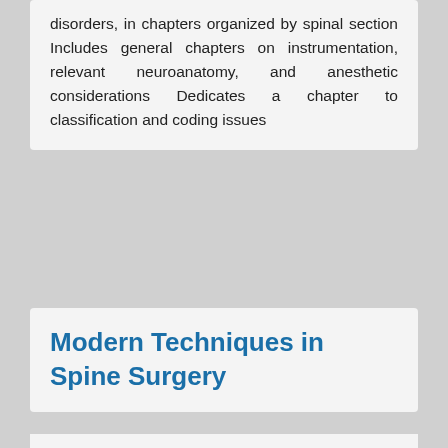disorders, in chapters organized by spinal section Includes general chapters on instrumentation, relevant neuroanatomy, and anesthetic considerations Dedicates a chapter to classification and coding issues
Modern Techniques in Spine Surgery
[Figure (illustration): Book cover showing 'Modern Techniques in SPINE SURGERY' text in red on a light background]